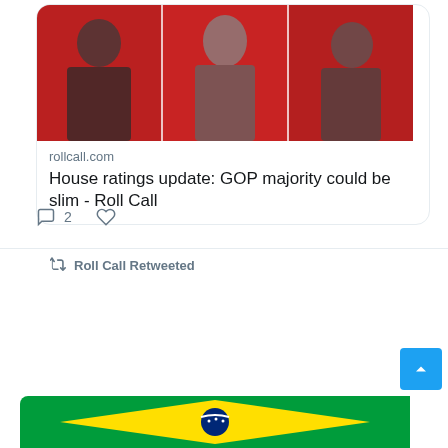[Figure (screenshot): Twitter/social media screenshot showing two tweets. First tweet contains a linked article card from rollcall.com with photo of three people on red background and title 'House ratings update: GOP majority could be slim - Roll Call', with 2 replies and a like icon. Second tweet shows Roll Call Retweeted a post from FiscalNote @FiscalNote 10h ago about #ESG legislative landscape in #Brazil and upcoming general elections, with link fnlink.co/3ctK1cT and a Brazil flag image partially visible.]